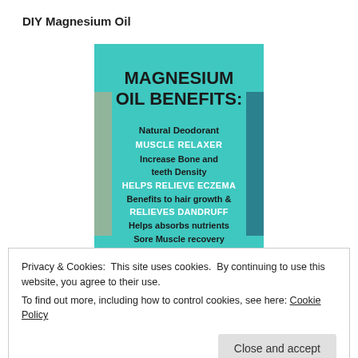DIY Magnesium Oil
[Figure (infographic): Teal/turquoise infographic card listing Magnesium Oil Benefits: Natural Deodorant, Muscle Relaxer, Increase Bone and Teeth Density, Helps Relieve Eczema, Benefits to Hair Growth & Relieves Dandruff, Helps Absorbs Nutrients, Sore Muscle Recovery, Helps with ADHD & ADD, Improves Sleep]
Privacy & Cookies: This site uses cookies. By continuing to use this website, you agree to their use.
To find out more, including how to control cookies, see here: Cookie Policy
Close and accept
in the process of learning about no-baking soda